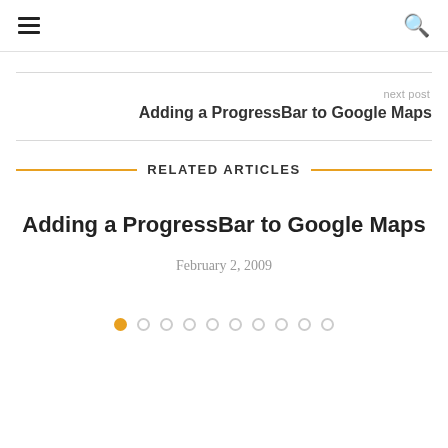Navigation bar with hamburger menu and search icon
next post
Adding a ProgressBar to Google Maps
RELATED ARTICLES
Adding a ProgressBar to Google Maps
February 2, 2009
[Figure (infographic): Pagination dots: 10 dots, first one filled orange, rest empty circles]